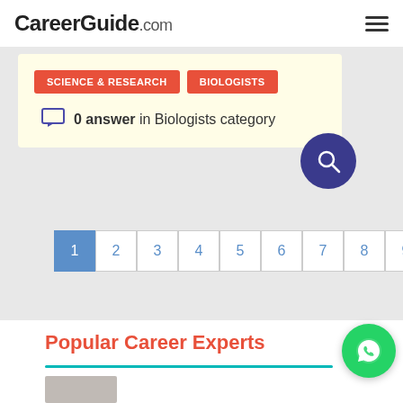CareerGuide.com
SCIENCE & RESEARCH   BIOLOGISTS
0 answer in Biologists category
1 2 3 4 5 6 7 8 9 10
Popular Career Experts
[Figure (other): WhatsApp contact button (green circle with WhatsApp logo)]